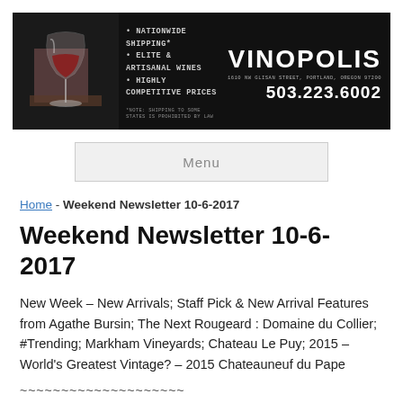[Figure (logo): Vinopolis wine shop banner advertisement with wine glass illustration on left, bullet points for Nationwide Shipping, Elite & Artisanal Wines, Highly Competitive Prices in center, and VINOPOLIS logo with address 1610 NW Glisan Street, Portland, Oregon 97209 and phone 503.223.6002 on right]
Menu
Home - Weekend Newsletter 10-6-2017
Weekend Newsletter 10-6-2017
New Week – New Arrivals; Staff Pick & New Arrival Features from Agathe Bursin; The Next Rougeard : Domaine du Collier; #Trending; Markham Vineyards; Chateau Le Puy; 2015 – World's Greatest Vintage? – 2015 Chateauneuf du Pape
~~~~~~~~~~~~~~~~~~~~